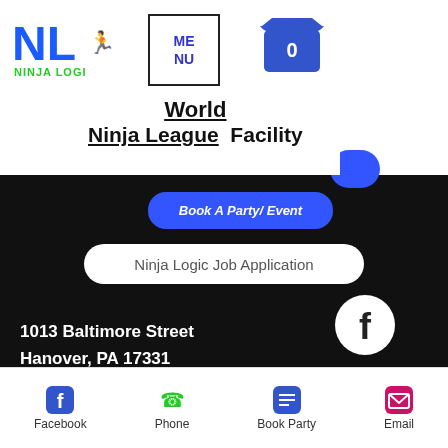[Figure (logo): Ninja Logic logo with NL letters in blue and green runner icon, NINJA LOGI text in green below]
ME
NU
[Figure (illustration): Blue shopping cart/bag icon with 0]
World
Ninja League  Facility
Book A Party/ Event
Ninja Logic Job Application
[Figure (logo): Facebook icon white circle]
[Figure (logo): Instagram icon white circle]
1013 Baltimore Street
Hanover, PA 17331
Call: (717) 797-5801
Email: hello@ninja-logic.com
Ninja Logic II, LLC  © 2022 / All Rights Reserved / Under New Management
Facebook  Phone  Book Party  Email